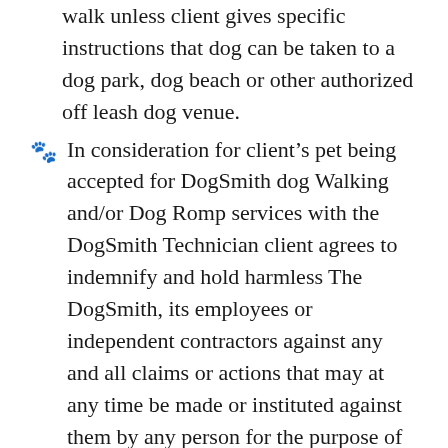walk unless client gives specific instructions that dog can be taken to a dog park, dog beach or other authorized off leash dog venue.
In consideration for client's pet being accepted for DogSmith dog Walking and/or Dog Romp services with the DogSmith Technician client agrees to indemnify and hold harmless The DogSmith, its employees or independent contractors against any and all claims or actions that may at any time be made or instituted against them by any person for the purpose of enforcing any cause of action growing out of or connected with the client's dog. The employees or independent contractors of The DogSmith Licensee agree to provide services stated in this contract in a reliable and trustworthy manner. In consideration of these services and as an express condition thereof, the client expressly